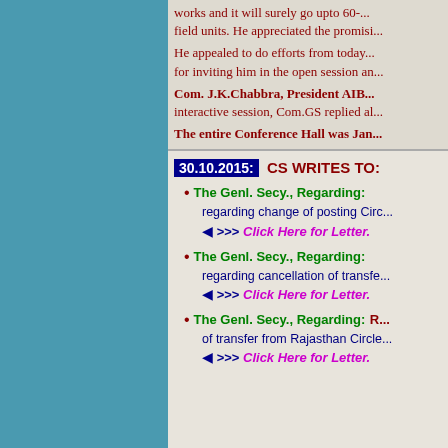works and it will surely go upto 60-... field units. He appreciated the promisi...
He appealed to do efforts from today... for inviting him in the open session an...
Com. J.K.Chabbra, President AIB... interactive session, Com.GS replied al...
The entire Conference Hall was Jan...
30.10.2015: CS WRITES TO:
The Genl. Secy., Regarding: regarding change of posting Circ... Click Here for Letter.
The Genl. Secy., Regarding: regarding cancellation of transfe... Click Here for Letter.
The Genl. Secy., Regarding: R... of transfer from Rajasthan Circle... Click Here for Letter.